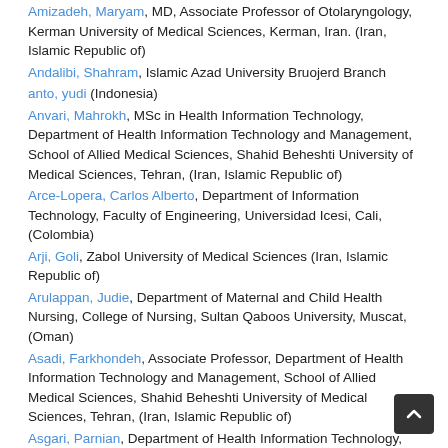Amizadeh, Maryam, MD, Associate Professor of Otolaryngology, Kerman University of Medical Sciences, Kerman, Iran. (Iran, Islamic Republic of)
Andalibi, Shahram, Islamic Azad University Bruojerd Branch
anto, yudi (Indonesia)
Anvari, Mahrokh, MSc in Health Information Technology, Department of Health Information Technology and Management, School of Allied Medical Sciences, Shahid Beheshti University of Medical Sciences, Tehran, (Iran, Islamic Republic of)
Arce-Lopera, Carlos Alberto, Department of Information Technology, Faculty of Engineering, Universidad Icesi, Cali, (Colombia)
Arji, Goli, Zabol University of Medical Sciences (Iran, Islamic Republic of)
Arulappan, Judie, Department of Maternal and Child Health Nursing, College of Nursing, Sultan Qaboos University, Muscat, (Oman)
Asadi, Farkhondeh, Associate Professor, Department of Health Information Technology and Management, School of Allied Medical Sciences, Shahid Beheshti University of Medical Sciences, Tehran, (Iran, Islamic Republic of)
Asgari, Parnian, Department of Health Information Technology,